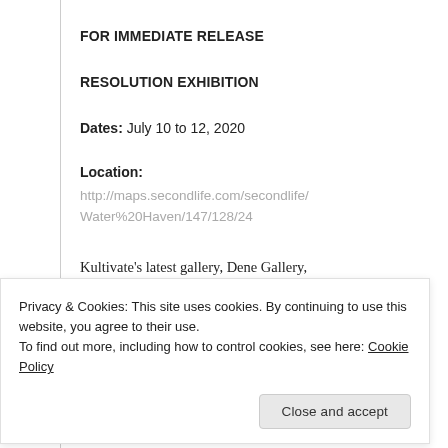FOR IMMEDIATE RELEASE
RESOLUTION EXHIBITION
Dates: July 10 to 12, 2020
Location:
http://maps.secondlife.com/secondlife/Water%20Haven/147/128/24
Kultivate's latest gallery, Dene Gallery, presents the Resolution Exhibition! This
Privacy & Cookies: This site uses cookies. By continuing to use this website, you agree to their use.
To find out more, including how to control cookies, see here: Cookie Policy
Reesa (huntsman) and will feature's